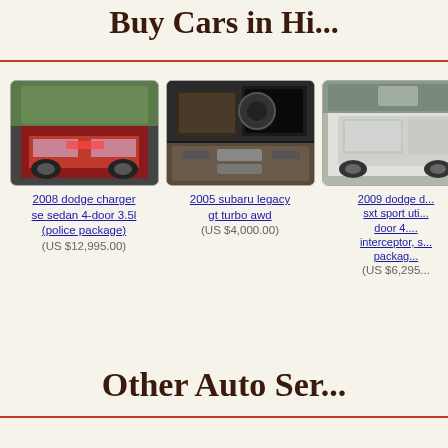Buy Cars in Hi...
[Figure (photo): Red 2008 Dodge Charger SE Sedan parked outdoors]
2008 dodge charger se sedan 4-door 3.5l (police package)
(US $12,995.00)
[Figure (photo): Interior dashboard and center console of 2005 Subaru Legacy GT Turbo AWD]
2005 subaru legacy gt turbo awd
(US $4,000.00)
[Figure (photo): White 2009 Dodge Durango SXT Sport Utility parked outdoors]
2009 dodge d... sxt sport uti... door 4.... interceptor, s... packag...
(US $6,295...
Other Auto Ser...